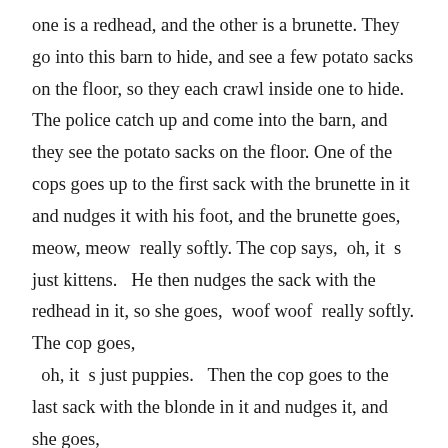one is a redhead, and the other is a brunette. They go into this barn to hide, and see a few potato sacks on the floor, so they each crawl inside one to hide. The police catch up and come into the barn, and they see the potato sacks on the floor. One of the cops goes up to the first sack with the brunette in it and nudges it with his foot, and the brunette goes,  meow, meow  really softly. The cop says,  oh, it  s just kittens.   He then nudges the sack with the redhead in it, so she goes,  woof woof  really softly. The cop goes,   oh, it  s just puppies.   Then the cop goes to the last sack with the blonde in it and nudges it, and she goes,   POTATOES!
The informant doesn  t really remember where she first heard this joke, but says it was years ago and probably at school. Although blonde jokes seem to stem from a stereotype that is often associated with blonde women from